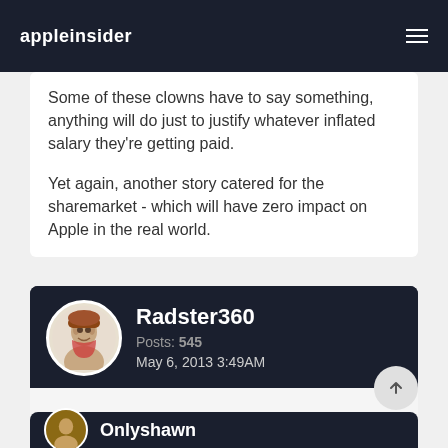appleinsider
Some of these clowns have to say something, anything will do just to justify whatever inflated salary they're getting paid.

Yet again, another story catered for the sharemarket - which will have zero impact on Apple in the real world.
Radster360
Posts: 545
May 6, 2013 3:49AM
SEC or whoever the governing body is really needs to put in some regulation on what all these analysts are spewing!
Onlyshawn